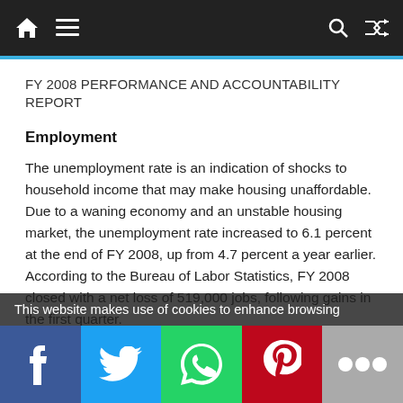FY 2008 PERFORMANCE AND ACCOUNTABILITY REPORT
Employment
The unemployment rate is an indication of shocks to household income that may make housing unaffordable. Due to a waning economy and an unstable housing market, the unemployment rate increased to 6.1 percent at the end of FY 2008, up from 4.7 percent a year earlier. According to the Bureau of Labor Statistics, FY 2008 closed with a net loss of 519,000 jobs, following gains in the first quarter.